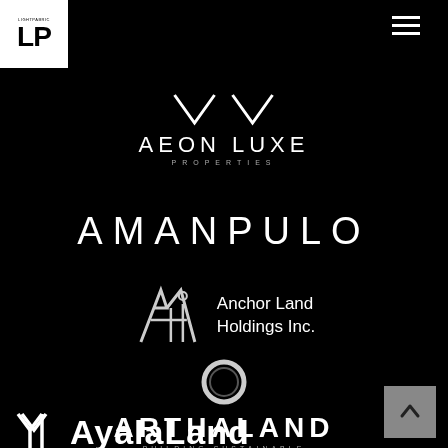[Figure (logo): LP logo in white box top-left corner]
[Figure (logo): Hamburger menu icon top-right]
[Figure (logo): Aeon Luxe Properties logo with chevrons]
[Figure (logo): AMANPULO text logo]
[Figure (logo): Anchor Land Holdings Inc. logo with stylized A-h-i mark]
[Figure (logo): Arthaland - Building Sustainable Legacies logo with ring symbol]
[Figure (logo): AyalaLand logo with stylized Y mark]